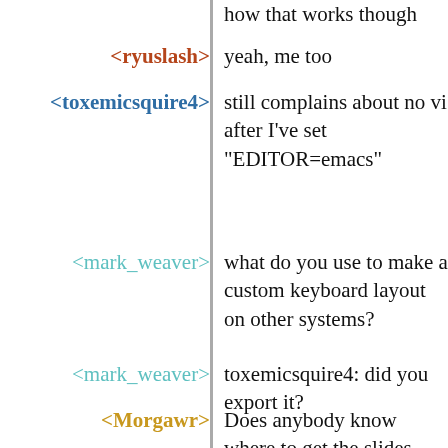how that works though
<ryuslash> yeah, me too
<toxemicsquire4> still complains about no vi after I've set "EDITOR=emacs"
<mark_weaver> what do you use to make a custom keyboard layout on other systems?
<mark_weaver> toxemicsquire4: did you export it?
<Morgawr> Does anybody know where to get the slides from the fosdem talk from this year?
<mark_weaver> Morgawr: